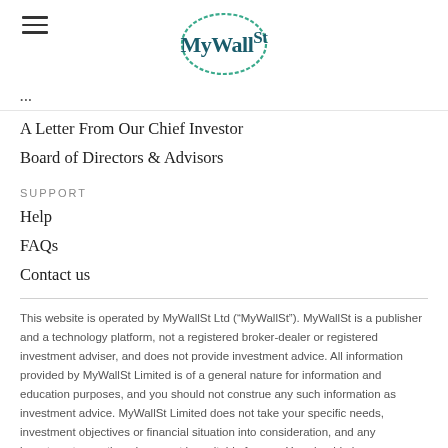[Figure (logo): MyWallSt logo with circular outline and hamburger menu icon on the left]
A Letter From Our Chief Investor
Board of Directors & Advisors
SUPPORT
Help
FAQs
Contact us
This website is operated by MyWallSt Ltd (“MyWallSt”). MyWallSt is a publisher and a technology platform, not a registered broker-dealer or registered investment adviser, and does not provide investment advice. All information provided by MyWallSt Limited is of a general nature for information and education purposes, and you should not construe any such information as investment advice. MyWallSt Limited does not take your specific needs, investment objectives or financial situation into consideration, and any investments mentioned may not be suitable for you. You should always carry out your own independent verification of facts and